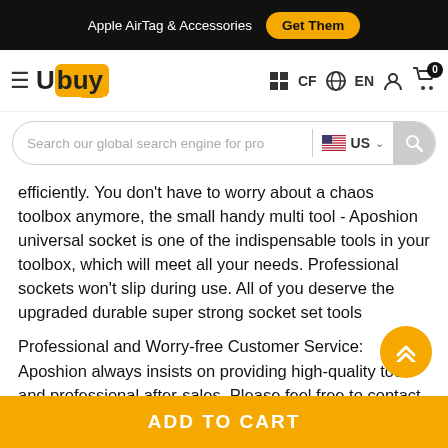Apple AirTag & Accessories  Get Them
[Figure (logo): Ubuy logo with hamburger menu, navigation icons (CF, EN, user, cart with 0 badge)]
[Figure (screenshot): Search bar with placeholder 'Search our global search engine for pro', US flag language selector, and search button]
efficiently. You don't have to worry about a chaos toolbox anymore, the small handy multi tool - Aposhion universal socket is one of the indispensable tools in your toolbox, which will meet all your needs. Professional sockets won't slip during use. All of you deserve the upgraded durable super strong socket set tools
Professional and Worry-free Customer Service: Aposhion always insists on providing high-quality tools and professional after-sales. Please feel free to contact us, if you have any prob with Aposhion handy tool super universal socket. You'll ge free return, a free replacement, or a full refund. Your valuable
ADD TO CART